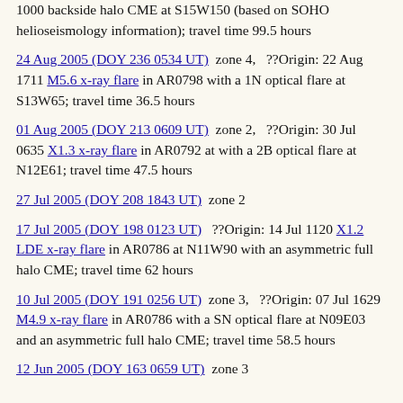1000 backside halo CME at S15W150 (based on SOHO helioseismology information); travel time 99.5 hours
24 Aug 2005 (DOY 236 0534 UT) zone 4, ??Origin: 22 Aug 1711 M5.6 x-ray flare in AR0798 with a 1N optical flare at S13W65; travel time 36.5 hours
01 Aug 2005 (DOY 213 0609 UT) zone 2, ??Origin: 30 Jul 0635 X1.3 x-ray flare in AR0792 at with a 2B optical flare at N12E61; travel time 47.5 hours
27 Jul 2005 (DOY 208 1843 UT) zone 2
17 Jul 2005 (DOY 198 0123 UT) ??Origin: 14 Jul 1120 X1.2 LDE x-ray flare in AR0786 at N11W90 with an asymmetric full halo CME; travel time 62 hours
10 Jul 2005 (DOY 191 0256 UT) zone 3, ??Origin: 07 Jul 1629 M4.9 x-ray flare in AR0786 with a SN optical flare at N09E03 and an asymmetric full halo CME; travel time 58.5 hours
12 Jun 2005 (DOY 163 0659 UT) zone 3